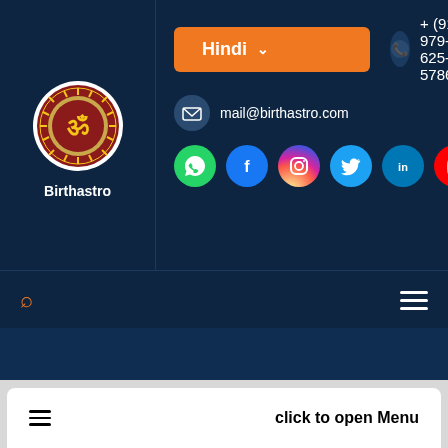[Figure (logo): Birthastro circular logo with sun rays and Sanskrit symbol, with text 'Birthastro' below]
Hindi ▾
+ (91) 979-625-5786
mail@birthastro.com
[Figure (infographic): Social media icons row: WhatsApp, Facebook, Instagram, Twitter, LinkedIn, YouTube]
[Figure (infographic): Navigation bar with search icon on left and hamburger menu on right]
Kamika Ekadashi 2020
Home / Vrats / Kamika Ekadashi
click to open Menu